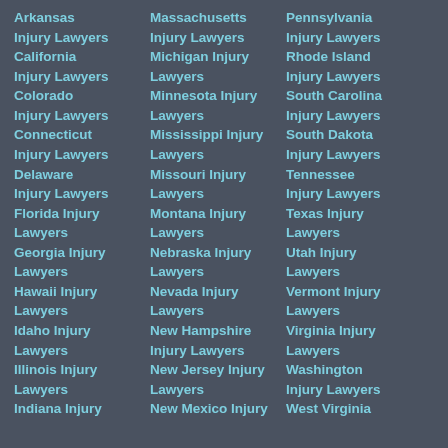Arkansas Injury Lawyers
California Injury Lawyers
Colorado Injury Lawyers
Connecticut Injury Lawyers
Delaware Injury Lawyers
Florida Injury Lawyers
Georgia Injury Lawyers
Hawaii Injury Lawyers
Idaho Injury Lawyers
Illinois Injury Lawyers
Indiana Injury
Massachusetts Injury Lawyers
Michigan Injury Lawyers
Minnesota Injury Lawyers
Mississippi Injury Lawyers
Missouri Injury Lawyers
Montana Injury Lawyers
Nebraska Injury Lawyers
Nevada Injury Lawyers
New Hampshire Injury Lawyers
New Jersey Injury Lawyers
New Mexico Injury
Pennsylvania Injury Lawyers
Rhode Island Injury Lawyers
South Carolina Injury Lawyers
South Dakota Injury Lawyers
Tennessee Injury Lawyers
Texas Injury Lawyers
Utah Injury Lawyers
Vermont Injury Lawyers
Virginia Injury Lawyers
Washington Injury Lawyers
West Virginia